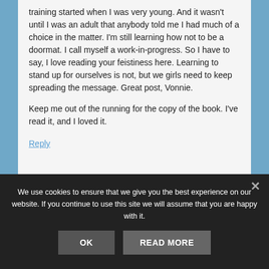training started when I was very young. And it wasn't until I was an adult that anybody told me I had much of a choice in the matter. I'm still learning how not to be a doormat. I call myself a work-in-progress. So I have to say, I love reading your feistiness here. Learning to stand up for ourselves is not, but we girls need to keep spreading the message. Great post, Vonnie.

Keep me out of the running for the copy of the book. I've read it, and I loved it.
Reply
We use cookies to ensure that we give you the best experience on our website. If you continue to use this site we will assume that you are happy with it.